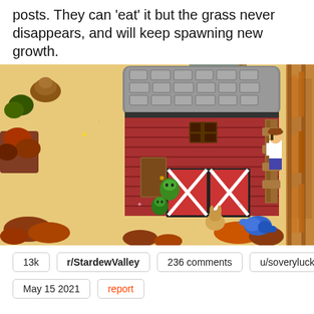posts. They can 'eat' it but the grass never disappears, and will keep spawning new growth.
[Figure (screenshot): Stardew Valley game screenshot showing a farm in autumn/fall with a red barn, silo, various crops and bushes, animal characters (green slimes, a rabbit, a blue crab-like creature), and a farmer character near the right side. Sandy ground surrounds the barn.]
13k   r/StardewValley   236 comments   u/soverylucky
May 15 2021   report